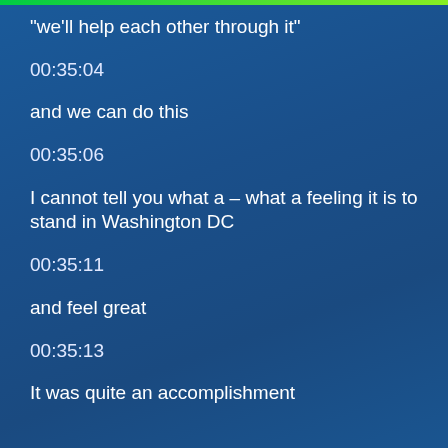“we’ll help each other through it”
00:35:04
and we can do this
00:35:06
I cannot tell you what a – what a feeling it is to stand in Washington DC
00:35:11
and feel great
00:35:13
It was quite an accomplishment